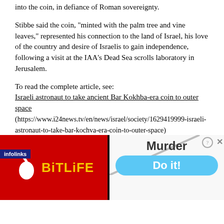into the coin, in defiance of Roman sovereignty.
Stibbe said the coin, "minted with the palm tree and vine leaves," represented his connection to the land of Israel, his love of the country and desire of Israelis to gain independence, following a visit at the IAA's Dead Sea scrolls laboratory in Jerusalem.
To read the complete article, see:
Israeli astronaut to take ancient Bar Kokhba-era coin to outer space (https://www.i24news.tv/en/news/israel/society/1629419999-israeli-astronaut-to-take-bar-kochva-era-coin-to-outer-space)
Thanks also to Dick Hanscom for these additional articles. -Editor
[Figure (screenshot): Advertisement banner: left side red background with BitLife logo (yellow text, sperm icon), right side showing 'Murder' text and 'Do it!' blue button. Infolinks bar visible at top left of ad.]